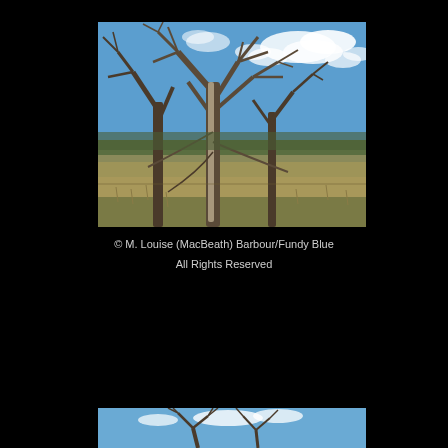[Figure (photo): Photograph of bare, leafless trees with gnarled branches against a blue sky with white clouds. Dry grass and low shrubs cover the ground foreground. The scene appears to be a winter or early spring prairie or meadow landscape.]
© M. Louise (MacBeath) Barbour/Fundy Blue
All Rights Reserved
[Figure (photo): Partial photograph at bottom of page showing bare tree branches against a blue sky, similar scene to the top photo.]